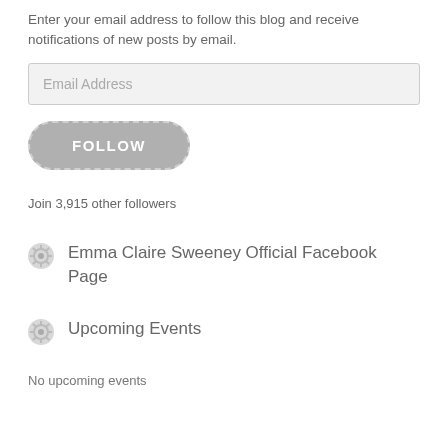Enter your email address to follow this blog and receive notifications of new posts by email.
Email Address
[Figure (other): FOLLOW button — rounded rectangle with dashed border in grey]
Join 3,915 other followers
Emma Claire Sweeney Official Facebook Page
Upcoming Events
No upcoming events